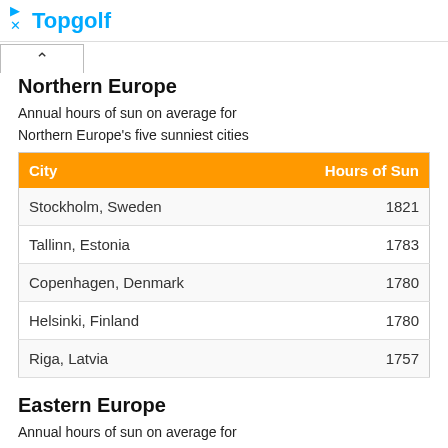Topgolf
Northern Europe
Annual hours of sun on average for Northern Europe's five sunniest cities
| City | Hours of Sun |
| --- | --- |
| Stockholm, Sweden | 1821 |
| Tallinn, Estonia | 1783 |
| Copenhagen, Denmark | 1780 |
| Helsinki, Finland | 1780 |
| Riga, Latvia | 1757 |
Eastern Europe
Annual hours of sun on average for Eastern Europe's five sunniest cities
| City | Hours of Sun |
| --- | --- |
| Odessa, Ukraine | 2183 |